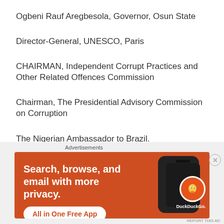Ogbeni Rauf Aregbesola, Governor, Osun State
Director-General, UNESCO, Paris
CHAIRMAN, Independent Corrupt Practices and Other Related Offences Commission
Chairman, The Presidential Advisory Commission on Corruption
The Nigerian Ambassador to Brazil.
[Figure (infographic): DuckDuckGo advertisement banner with orange background. Text reads: 'Search, browse, and email with more privacy. All in One Free App' with DuckDuckGo logo and phone graphic.]